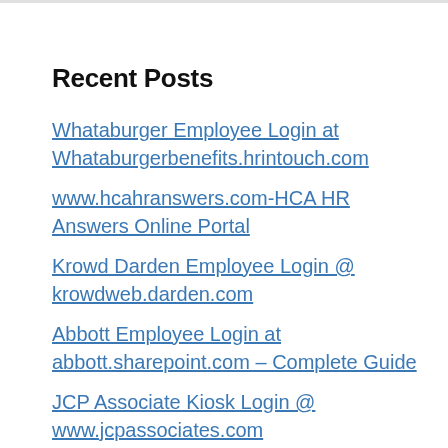Recent Posts
Whataburger Employee Login at Whataburgerbenefits.hrintouch.com
www.hcahranswers.com-HCA HR Answers Online Portal
Krowd Darden Employee Login @ krowdweb.darden.com
Abbott Employee Login at abbott.sharepoint.com – Complete Guide
JCP Associate Kiosk Login @ www.jcpassociates.com